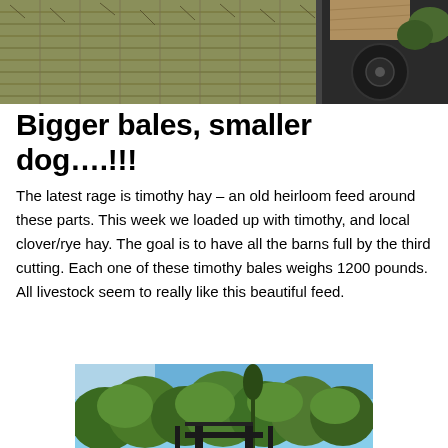[Figure (photo): Large rectangular hay bales stacked on a trailer, viewed from above and side, with a dirt road visible in the background]
Bigger bales, smaller dog….!!!
The latest rage is timothy hay – an old heirloom feed around these parts. This week we loaded up with timothy, and local clover/rye hay. The goal is to have all the barns full by the third cutting. Each one of these timothy bales weighs 1200 pounds. All livestock seem to really like this beautiful feed.
[Figure (photo): Outdoor scene with green trees and shrubs under a blue sky, with a dark fence gate visible in the foreground]